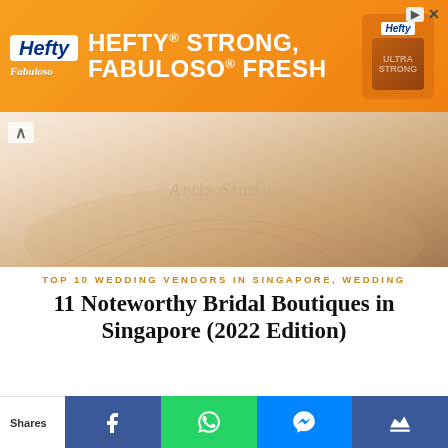[Figure (photo): Orange Hefty advertisement banner with Fabuloso logo and product image. Text: HEFTY STRONG, FABULOSO FRESH]
[Figure (photo): Bridal boutique wedding dress spread on floor, beige/cream colored, with watermark 'Artiz Studio']
TOP 10 WEDDING VENDORS IN SINGAPORE, WEDDING
11 Noteworthy Bridal Boutiques in Singapore (2022 Edition)
June 14, 2022
In this issue, we showcase our top picks for Singapore bridal boutiques, where you can find gorgeous wedding dresses for
[Figure (screenshot): Social share bar with Shares label, Facebook, WhatsApp, Messenger, and crown icon buttons]